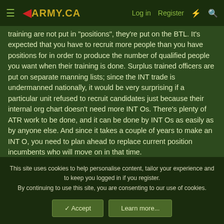≡ ◄ARMY.CA  Log in  Register  ⚡  🔍
training are not put in "positions", they're put on the BTL. It's expected that you have to recruit more people than you have positions for in order to produce the number of qualified people you want when their training is done. Surplus trained officers are put on separate manning lists; since the INT trade is undermanned nationally, it would be very surprising if a particular unit refused to recruit candidates just because their internal org chart doesn't need more INT Os. There's plenty of ATR work to be done, and it can be done by INT Os as easily as by anyone else. And since it takes a couple of years to make an INT O, you need to plan ahead to replace current position incumbents who will move on in that time.
Are you actually at DISCOVERY? If so, you can get the real
This site uses cookies to help personalise content, tailor your experience and to keep you logged in if you register.
By continuing to use this site, you are consenting to our use of cookies.
✓ Accept    Learn more...